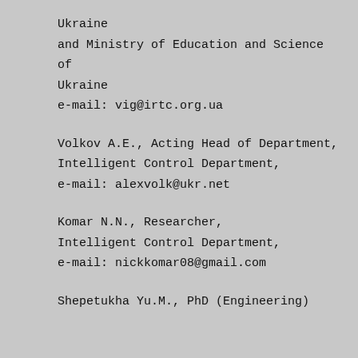Ukraine
and Ministry of Education and Science of Ukraine
e-mail: vig@irtc.org.ua
Volkov A.E., Acting Head of Department, Intelligent Control Department,
e-mail: alexvolk@ukr.net
Komar N.N., Researcher, Intelligent Control Department,
e-mail: nickkomar08@gmail.com
Shepetukha Yu.M., PhD (Engineering)